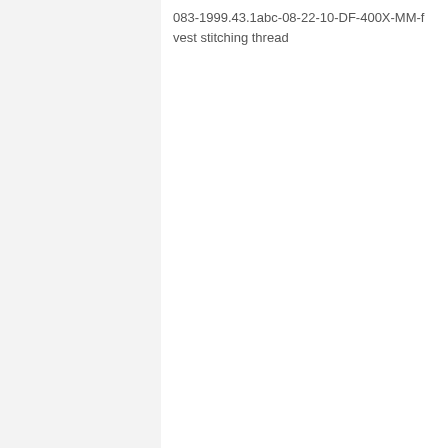083-1999.43.1abc-08-22-10-DF-400X-MM-f vest stitching thread